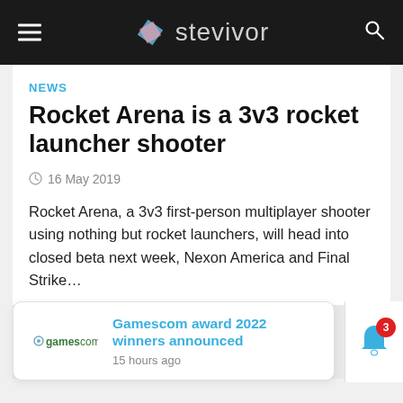stevivor
NEWS
Rocket Arena is a 3v3 rocket launcher shooter
16 May 2019
Rocket Arena, a 3v3 first-person multiplayer shooter using nothing but rocket launchers, will head into closed beta next week, Nexon America and Final Strike…
Gamescom award 2022 winners announced
15 hours ago